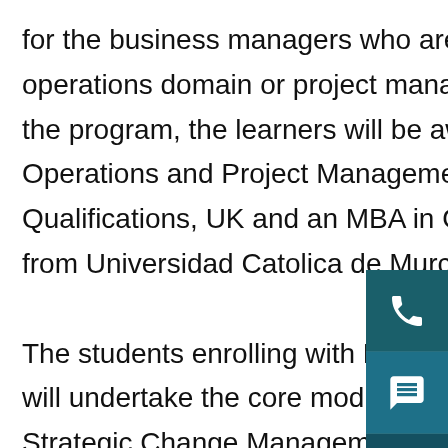for the business managers who are looking forward to a great career in operations domain or project management domain. Post completion of the program, the learners will be awarded with a postgraduate diploma in Operations and Project Management from Cambridge International Qualifications, UK and an MBA in Operations and Project Management from Universidad Catolica de Murcia, UCAM. The students enrolling with MBA in Operations and Project Management will undertake the core modules on International Human Resources, Strategic Change Management, Strategic Management and Leadership and Operations Management and specialised modules on Supply